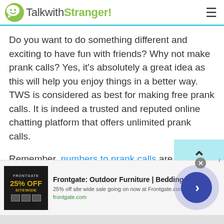TalkwithStranger!
Do you want to do something different and exciting to have fun with friends? Why not make prank calls? Yes, it's absolutely a great idea as this will help you enjoy things in a better way. TWS is considered as best for making free prank calls. It is indeed a trusted and reputed online chatting platform that offers unlimited prank calls.
Remember, numbers to prank calls are just for fun and entertainment. So, make sure no one needs to be offensive while talking to strangers online.
[Figure (screenshot): Advertisement banner for Frontgate: Outdoor Furniture | Bedding with 25% off sitewide sale]